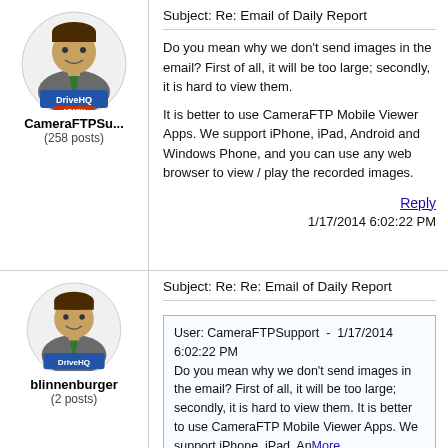[Figure (illustration): Forum avatar: cartoon person with DriveHQ Admin badge]
CameraFTPSu...
(258 posts)
Subject: Re: Email of Daily Report
Do you mean why we don't send images in the email? First of all, it will be too large; secondly, it is hard to view them.
It is better to use CameraFTP Mobile Viewer Apps. We support iPhone, iPad, Android and Windows Phone, and you can use any web browser to view / play the recorded images.
Reply
1/17/2014 6:02:22 PM
[Figure (illustration): Forum avatar: cartoon person with DriveHQ badge]
blinnenburger
(2 posts)
Subject: Re: Re: Email of Daily Report
User: CameraFTPSupport  -  1/17/2014 6:02:22 PM
Do you mean why we don't send images in the email? First of all, it will be too large; secondly, it is hard to view them. It is better to use CameraFTP Mobile Viewer Apps. We support iPhone, iPad, AnMore...
Thank you for the response, but I don't think what I wrote communicated the issue properly. I receive the following